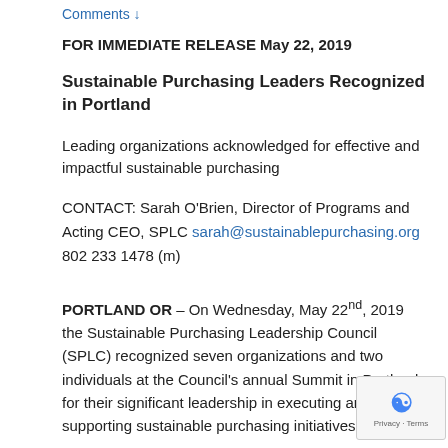Comments ↓
FOR IMMEDIATE RELEASE May 22, 2019
Sustainable Purchasing Leaders Recognized in Portland
Leading organizations acknowledged for effective and impactful sustainable purchasing
CONTACT: Sarah O'Brien, Director of Programs and Acting CEO, SPLC sarah@sustainablepurchasing.org 802 233 1478 (m)
PORTLAND OR – On Wednesday, May 22nd, 2019 the Sustainable Purchasing Leadership Council (SPLC) recognized seven organizations and two individuals at the Council's annual Summit in Portland for their significant leadership in executing and supporting sustainable purchasing initiatives.